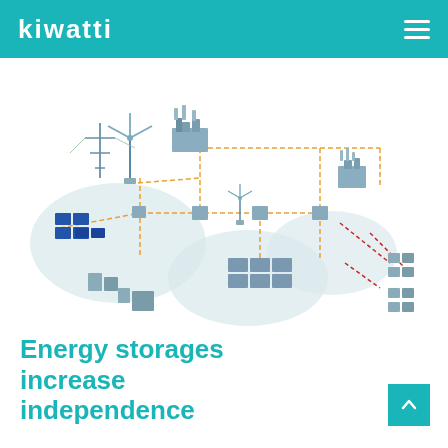KIWATTI
[Figure (schematic): Isometric network diagram showing an energy grid with interconnected nodes including solar panels, wind turbines, batteries, industrial buildings, and residential buildings connected by orange and red dashed lines representing power flows. Several nodes are highlighted with grey oval groupings indicating energy storage clusters.]
Energy storages increase independence